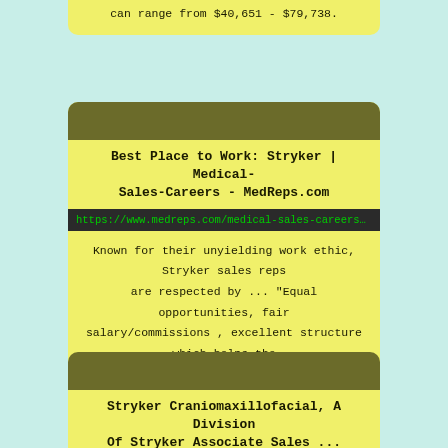can range from $40,651 - $79,738.
Best Place to Work: Stryker | Medical-Sales-Careers - MedReps.com
https://www.medreps.com/medical-sales-careers/str…
Known for their unyielding work ethic, Stryker sales reps are respected by ... “Equal opportunities, fair salary/commissions , excellent structure which helps the sales process go ... Endoscopy Sales Associate - Orlando, Florida (Oct 1, 2...
Stryker Craniomaxillofacial, A Division Of Stryker Associate Sales ...